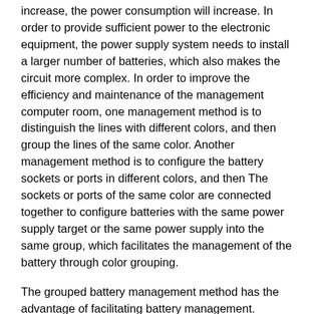increase, the power consumption will increase. In order to provide sufficient power to the electronic equipment, the power supply system needs to install a larger number of batteries, which also makes the circuit more complex. In order to improve the efficiency and maintenance of the management computer room, one management method is to distinguish the lines with different colors, and then group the lines of the same color. Another management method is to configure the battery sockets or ports in different colors, and then The sockets or ports of the same color are connected together to configure batteries with the same power supply target or the same power supply into the same group, which facilitates the management of the battery through color grouping.
The grouped battery management method has the advantage of facilitating battery management. However, when the battery is faulty, the maintenance personnel at the site of the equipment room can only know how many batteries are in the group, but still have to detect all the groups one by one and find the faulty group. For the maintenance staff, it is impossible to find the fault quickly and effectively. Battery group, it takes a lot of manpower